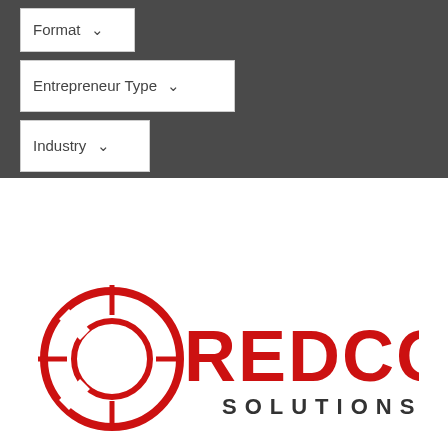[Figure (screenshot): Web interface showing dropdown filters: Format, Entrepreneur Type, Industry on dark background]
[Figure (screenshot): Search within results bar with text input, GO! button, show only local content checkbox, Date sort dropdown, list and grid view toggles]
[Figure (logo): REDCON Solutions Group logo with red crosshair target symbol and red bold text]